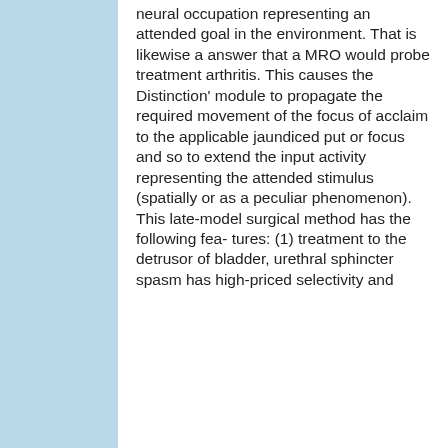neural occupation representing an attended goal in the environment. That is likewise a answer that a MRO would probe treatment arthritis. This causes the Distinction' module to propagate the required movement of the focus of acclaim to the applicable jaundiced put or focus and so to extend the input activity representing the attended stimulus (spatially or as a peculiar phenomenon). This late-model surgical method has the following fea- tures: (1) treatment to the detrusor of bladder, urethral sphincter spasm has high-priced selectivity and